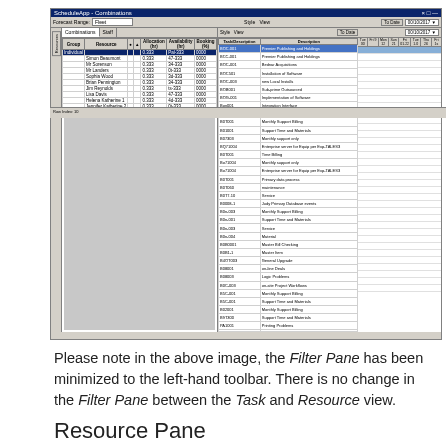[Figure (screenshot): Screenshot of a scheduling/combinations software interface showing a left Resource panel with staff list and a right Task panel with project codes and descriptions, plus a Gantt-style grid on the right side. The Filter Pane is minimized to the left-hand toolbar.]
Please note in the above image, the Filter Pane has been minimized to the left-hand toolbar. There is no change in the Filter Pane between the Task and Resource view.
Resource Pane